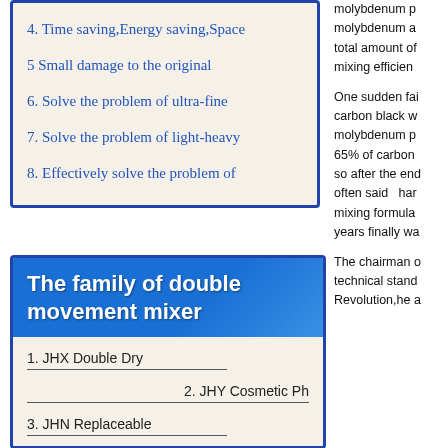4. Time saving,Energy saving,Space
5 Small damage to the original
6. Solve the problem of ultra-fine
7. Solve the problem of light-heavy
8. Effectively solve the problem of
The family of double movement mixer
1. JHX Double Dry
2. JHY Cosmetic Ph
3. JHN Replaceable
molybdenum p molybdenum a total amount of mixing efficien
One sudden fai carbon black w molybdenum p 65% of carbon so after the end often said   har mixing formula years finally wa
The chairman o technical stand Revolution,he a